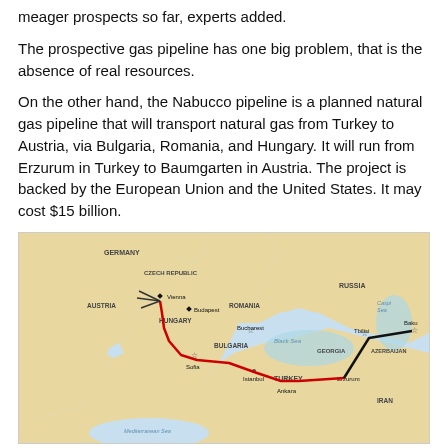meager prospects so far, experts added.
The prospective gas pipeline has one big problem, that is the absence of real resources.
On the other hand, the Nabucco pipeline is a planned natural gas pipeline that will transport natural gas from Turkey to Austria, via Bulgaria, Romania, and Hungary. It will run from Erzurum in Turkey to Baumgarten in Austria. The project is backed by the European Union and the United States. It may cost $15 billion.
[Figure (map): Map showing the Nabucco gas pipeline route from Baku/Erzurum in Turkey through Bulgaria, Romania, Hungary to Austria/Vienna, with country labels including Germany, Czech Republic, Austria, Hungary, Romania, Bulgaria, Turkey, Russia, Georgia, Azerbaijan, Iran, and bodies of water Black Sea, Caspian Sea, Mediterranean Sea. The pipeline is shown as a red line from Erzurum through Ankara, Sofia, Bucharest, Budapest to Vienna/Baumgarten. A black line shows the existing BTE pipeline from Baku through Tbilisi to Erzurum.]
Nabucco gas pipeline
The project has been criticized as uneconomic because